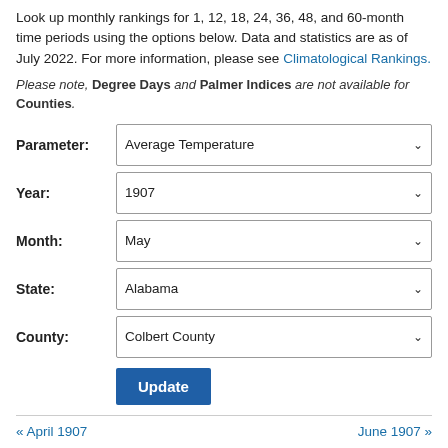Look up monthly rankings for 1, 12, 18, 24, 36, 48, and 60-month time periods using the options below. Data and statistics are as of July 2022. For more information, please see Climatological Rankings.
Please note, Degree Days and Palmer Indices are not available for Counties.
Parameter: Average Temperature
Year: 1907
Month: May
State: Alabama
County: Colbert County
Update
« April 1907
June 1907 »
Colbert County, Alabama
Average Temperature Rankings, May 1907